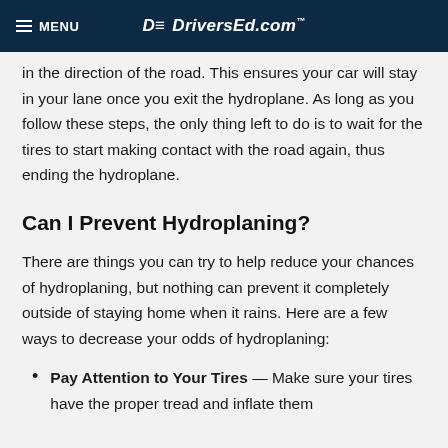MENU | DriversEd.com
in the direction of the road. This ensures your car will stay in your lane once you exit the hydroplane. As long as you follow these steps, the only thing left to do is to wait for the tires to start making contact with the road again, thus ending the hydroplane.
Can I Prevent Hydroplaning?
There are things you can try to help reduce your chances of hydroplaning, but nothing can prevent it completely outside of staying home when it rains. Here are a few ways to decrease your odds of hydroplaning:
Pay Attention to Your Tires — Make sure your tires have the proper tread and inflate them